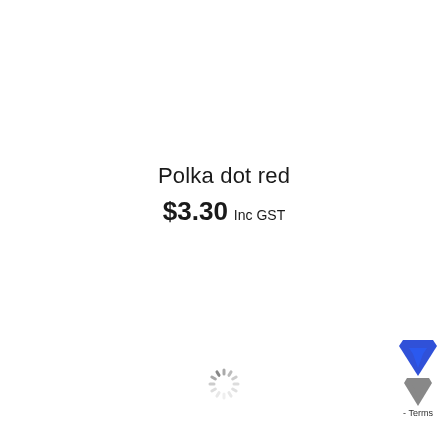Polka dot red
$3.30 Inc GST
[Figure (other): Loading spinner animation (circular dashed wheel)]
[Figure (other): Corner widget with blue arrow icons and Terms label]